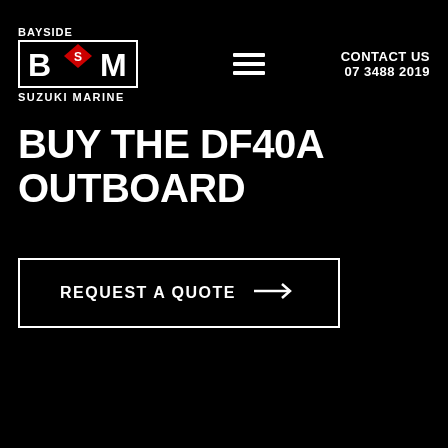[Figure (logo): Bayside BSM Suzuki Marine logo with white text and red diamond Suzuki emblem on black background]
CONTACT US
07 3488 2019
BUY THE DF40A OUTBOARD
REQUEST A QUOTE →